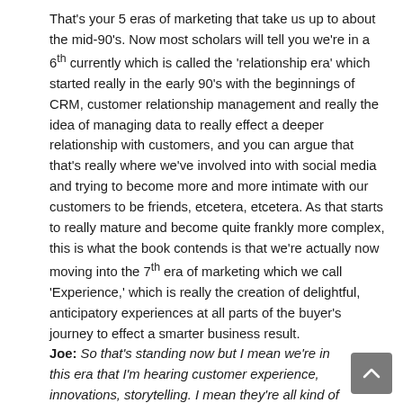That's your 5 eras of marketing that take us up to about the mid-90's. Now most scholars will tell you we're in a 6th currently which is called the 'relationship era' which started really in the early 90's with the beginnings of CRM, customer relationship management and really the idea of managing data to really effect a deeper relationship with customers, and you can argue that that's really where we've involved into with social media and trying to become more and more intimate with our customers to be friends, etcetera, etcetera. As that starts to really mature and become quite frankly more complex, this is what the book contends is that we're actually now moving into the 7th era of marketing which we call 'Experience,' which is really the creation of delightful, anticipatory experiences at all parts of the buyer's journey to effect a smarter business result.
Joe: So that's standing now but I mean we're in this era that I'm hearing customer experience, innovations, storytelling. I mean they're all kind of blending to me a